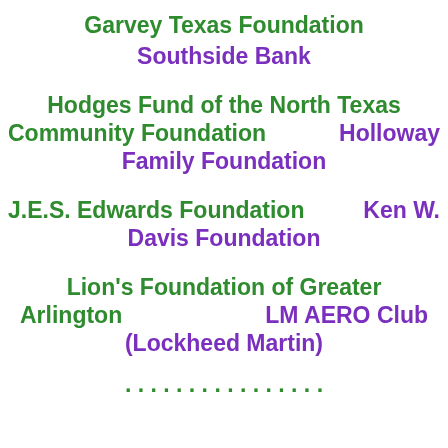Garvey Texas Foundation
Southside Bank
Hodges Fund of the North Texas Community Foundation
Holloway Family Foundation
J.E.S. Edwards Foundation
Ken W. Davis Foundation
Lion's Foundation of Greater Arlington
LM AERO Club (Lockheed Martin)